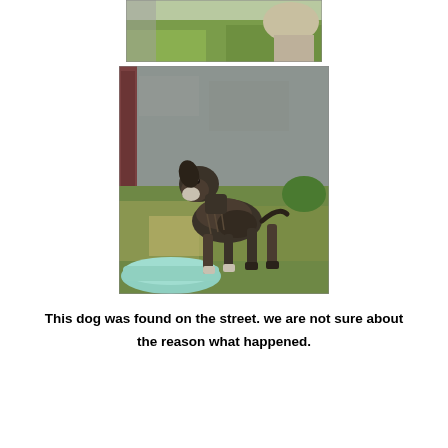[Figure (photo): Top partial photo showing green grass and a light-colored animal in the background, cropped at top.]
[Figure (photo): A severely emaciated dog with dark brindle coat, visible ribs, standing on grass near a concrete wall. A light blue/teal bowl is visible in the lower left. The dog appears malnourished and unwell.]
This dog was found on the street. we are not sure about the reason what happened.